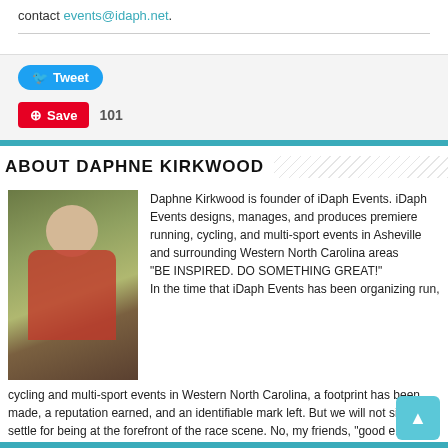contact events@idaph.net.
[Figure (other): Tweet button (Twitter/X social share button)]
[Figure (other): Pinterest Save button with count 101]
ABOUT DAPHNE KIRKWOOD
[Figure (photo): Portrait photo of Daphne Kirkwood sitting outdoors in a field]
Daphne Kirkwood is founder of iDaph Events. iDaph Events designs, manages, and produces premiere running, cycling, and multi-sport events in Asheville and surrounding Western North Carolina areas “BE INSPIRED. DO SOMETHING GREAT!” In the time that iDaph Events has been organizing run, cycling and multi-sport events in Western North Carolina, a footprint has been made, a reputation earned, and an identifiable mark left. But we will not simply settle for being at the forefront of the race scene. No, my friends, “good enough” just isn’t good enough for us as organizers, nor for you as participants. We hope you continue to BE INSPIRED and DO SOMETHING GREAT!